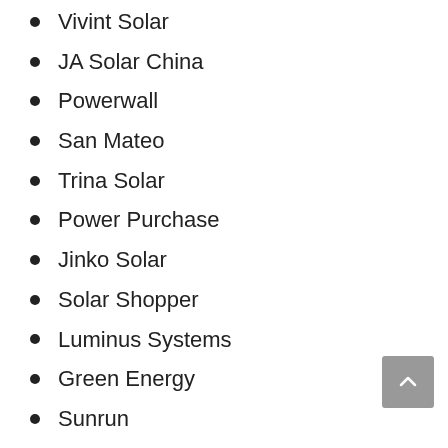Vivint Solar
JA Solar China
Powerwall
San Mateo
Trina Solar
Power Purchase
Jinko Solar
Solar Shopper
Luminus Systems
Green Energy
Sunrun
Jinko solar
Alternative Energy
Word Combination
Connecticut
Panasonic
Bright Green
Renewable Energy